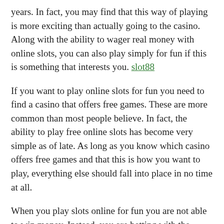years. In fact, you may find that this way of playing is more exciting than actually going to the casino. Along with the ability to wager real money with online slots, you can also play simply for fun if this is something that interests you. slot88
If you want to play online slots for fun you need to find a casino that offers free games. These are more common than most people believe. In fact, the ability to play free online slots has become very simple as of late. As long as you know which casino offers free games and that this is how you want to play, everything else should fall into place in no time at all.
When you play slots online for fun you are not able to win money. Instead, you are betting with the casino's money and only winning more “virtual credits.” With that being said, you are able to eventually move into paid games, with real money, if you decide that you want to do so.
If you just want to play slots for fun you should find a casino